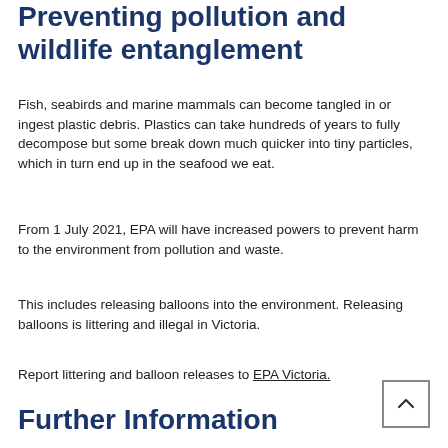Preventing pollution and wildlife entanglement
Fish, seabirds and marine mammals can become tangled in or ingest plastic debris. Plastics can take hundreds of years to fully decompose but some break down much quicker into tiny particles, which in turn end up in the seafood we eat.
From 1 July 2021, EPA will have increased powers to prevent harm to the environment from pollution and waste.
This includes releasing balloons into the environment. Releasing balloons is littering and illegal in Victoria.
Report littering and balloon releases to EPA Victoria.
Further Information